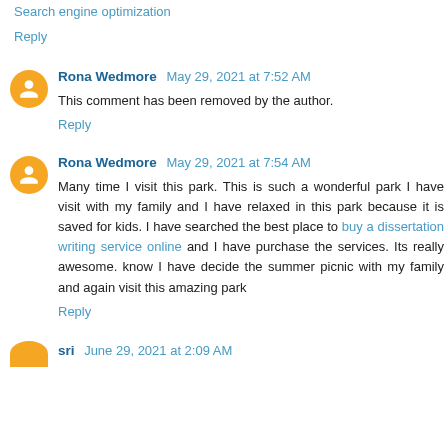Search engine optimization
Reply
Rona Wedmore  May 29, 2021 at 7:52 AM
This comment has been removed by the author.
Reply
Rona Wedmore  May 29, 2021 at 7:54 AM
Many time I visit this park. This is such a wonderful park I have visit with my family and I have relaxed in this park because it is saved for kids. I have searched the best place to buy a dissertation writing service online and I have purchase the services. Its really awesome. know I have decide the summer picnic with my family and again visit this amazing park
Reply
sri  June 29, 2021 at 2:09 AM